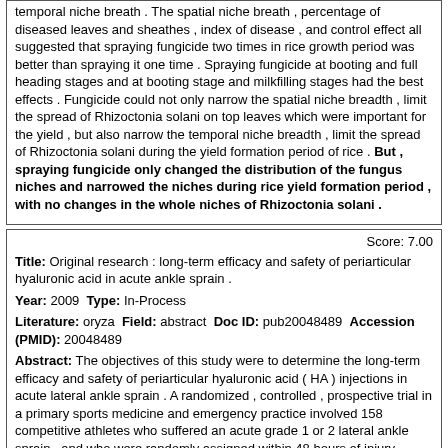temporal niche breath . The spatial niche breath , percentage of diseased leaves and sheathes , index of disease , and control effect all suggested that spraying fungicide two times in rice growth period was better than spraying it one time . Spraying fungicide at booting and full heading stages and at booting stage and milkfilling stages had the best effects . Fungicide could not only narrow the spatial niche breadth , limit the spread of Rhizoctonia solani on top leaves which were important for the yield , but also narrow the temporal niche breadth , limit the spread of Rhizoctonia solani during the yield formation period of rice . But , spraying fungicide only changed the distribution of the fungus niches and narrowed the niches during rice yield formation period , with no changes in the whole niches of Rhizoctonia solani .
Score: 7.00
Title: Original research : long-term efficacy and safety of periarticular hyaluronic acid in acute ankle sprain .
Year: 2009 Type: In-Process
Literature: oryza Field: abstract Doc ID: pub20048489 Accession (PMID): 20048489
Abstract: The objectives of this study were to determine the long-term efficacy and safety of periarticular hyaluronic acid ( HA ) injections in acute lateral ankle sprain . A randomized , controlled , prospective trial in a primary sports medicine and emergency practice involved 158 competitive athletes who suffered an acute grade 1 or 2 lateral ankle sprain , and who were randomly assigned within 48 hours of injury . Patients were randomly assigned at baseline to periarticular injection with HA + standard of care ( rest , ice , elevation , and compression [ RICE ] ) or placebo injection ( PL ) + standard of care ( RICE ) treatment at baseline assessment and day 4 after injury . Follow-up was at 30 , 90 ,